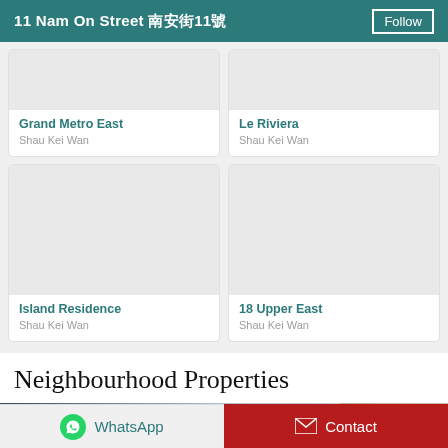11 Nam On Street 南安街11號 Follow
Grand Metro East
Shau Kei Wan
Le Riviera
Shau Kei Wan
Island Residence
Shau Kei Wan
18 Upper East
Shau Kei Wan
Neighbourhood Properties
[Figure (photo): Two property thumbnails at the bottom of the page, partially visible]
WhatsApp
Contact